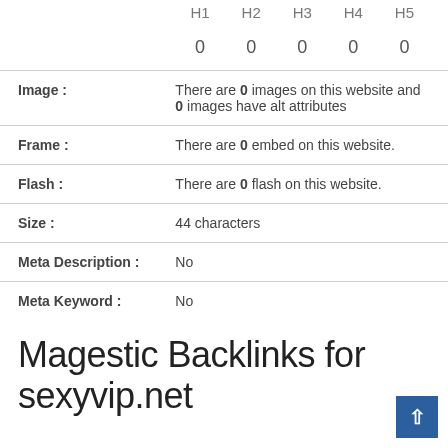|  | H1 | H2 | H3 | H4 | H5 |
| --- | --- | --- | --- | --- | --- |
|  | 0 | 0 | 0 | 0 | 0 |
| Field | Value |
| --- | --- |
| Image : | There are 0 images on this website and 0 images have alt attributes |
| Frame : | There are 0 embed on this website. |
| Flash : | There are 0 flash on this website. |
| Size : | 44 characters |
| Meta Description : | No |
| Meta Keyword : | No |
Magestic Backlinks for sexyvip.net